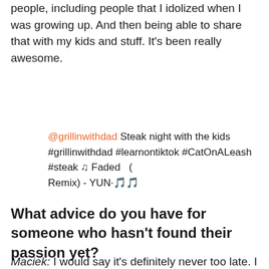people, including people that I idolized when I was growing up. And then being able to share that with my kids and stuff. It's been really awesome.
@grillinwithdad Steak night with the kids #grillinwithdad #learnontiktok #CatOnALeash #steak ♫ Faded (Remix) - YUN·🎵🎵
What advice do you have for someone who hasn't found their passion yet?
Maciek: I would say it's definitely never too late. I started my Instagram page